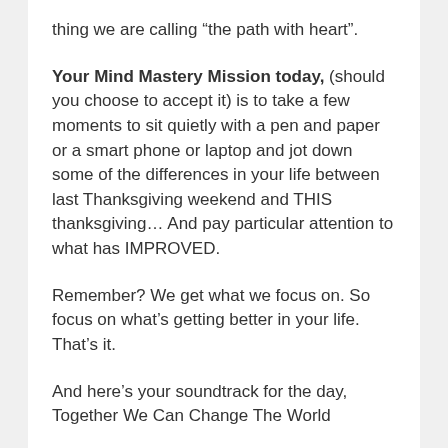thing we are calling “the path with heart”.
Your Mind Mastery Mission today, (should you choose to accept it) is to take a few moments to sit quietly with a pen and paper or a smart phone or laptop and jot down some of the differences in your life between last Thanksgiving weekend and THIS thanksgiving… And pay particular attention to what has IMPROVED.
Remember? We get what we focus on. So focus on what’s getting better in your life. That’s it.
And here’s your soundtrack for the day, Together We Can Change The World